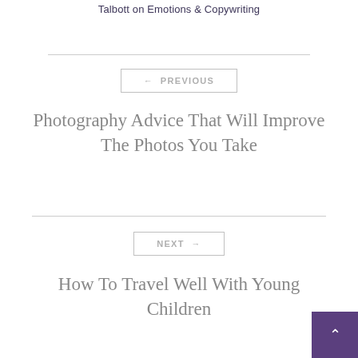Talbott on Emotions & Copywriting
← PREVIOUS
Photography Advice That Will Improve The Photos You Take
NEXT →
How To Travel Well With Young Children